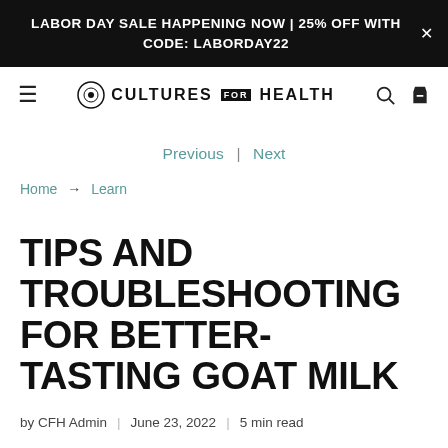LABOR DAY SALE HAPPENING NOW | 25% OFF WITH CODE: LABORDAY22
CULTURES FOR HEALTH
Previous | Next
Home → Learn
TIPS AND TROUBLESHOOTING FOR BETTER-TASTING GOAT MILK
by CFH Admin | June 23, 2022 | 5 min read